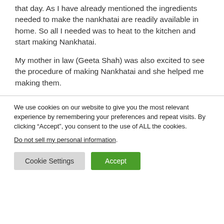that day. As I have already mentioned the ingredients needed to make the nankhatai are readily available in home. So all I needed was to heat to the kitchen and start making Nankhatai.
My mother in law (Geeta Shah) was also excited to see the procedure of making Nankhatai and she helped me making them.
We use cookies on our website to give you the most relevant experience by remembering your preferences and repeat visits. By clicking “Accept”, you consent to the use of ALL the cookies. Do not sell my personal information.